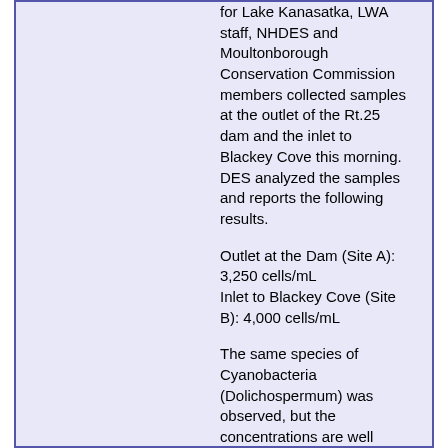for Lake Kanasatka, LWA staff, NHDES and Moultonborough Conservation Commission members collected samples at the outlet of the Rt.25 dam and the inlet to Blackey Cove this morning. DES analyzed the samples and reports the following results.
Outlet at the Dam (Site A): 3,250 cells/mL
Inlet to Blackey Cove (Site B): 4,000 cells/mL
The same species of Cyanobacteria (Dolichospermum) was observed, but the concentrations are well below the state threshold for a warning or advisory. Advisories are issued when cyanobacterial cell concentrations exceed 70,000 cells/mL.
Blackey Cove residents please be on the lookout and